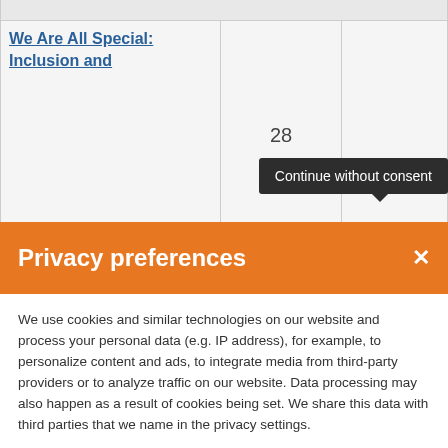We Are All Special: Inclusion and
28
Continue without consent
Privacy preferences
We use cookies and similar technologies on our website and process your personal data (e.g. IP address), for example, to personalize content and ads, to integrate media from third-party providers or to analyze traffic on our website. Data processing may also happen as a result of cookies being set. We share this data with third parties that we name in the privacy settings.
Continue without consent
Accept all
Set privacy settings individually
Privacy policy • Cookie Policy